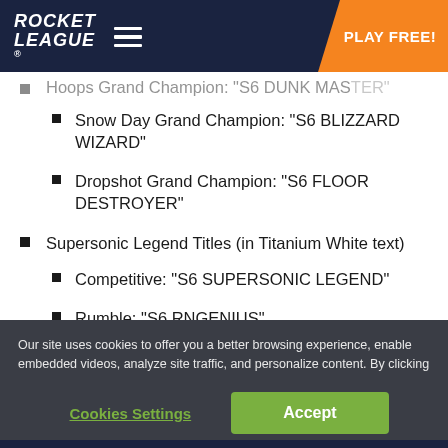Rocket League — PLAY FREE!
Hoops Grand Champion: "S6 DUNK MASTER" [partially visible, cut off]
Snow Day Grand Champion: "S6 BLIZZARD WIZARD"
Dropshot Grand Champion: "S6 FLOOR DESTROYER"
Supersonic Legend Titles (in Titanium White text)
Competitive: "S6 SUPERSONIC LEGEND"
Rumble: "S6 RNGENIUS"
Our site uses cookies to offer you a better browsing experience, enable embedded videos, analyze site traffic, and personalize content. By clicking “Accept”, you agree to the use of the cookies as they are currently set and are okay to continue. Privacy Policy
Cookies Settings | Accept